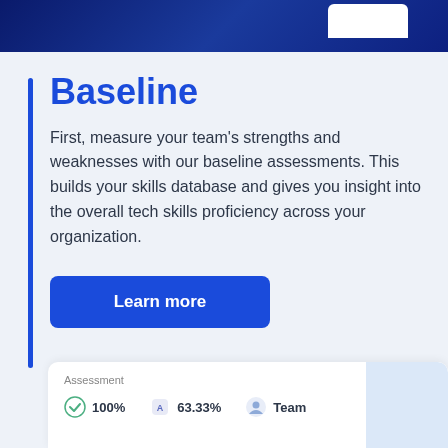Baseline
First, measure your team's strengths and weaknesses with our baseline assessments. This builds your skills database and gives you insight into the overall tech skills proficiency across your organization.
Learn more
[Figure (screenshot): Bottom card showing assessment metrics: 100%, 63.33%, Team with icons]